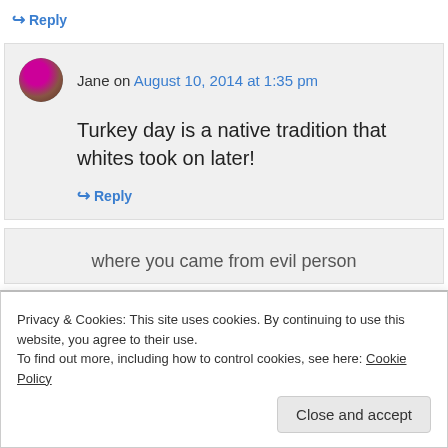↪ Reply
Jane on August 10, 2014 at 1:35 pm
Turkey day is a native tradition that whites took on later!
↪ Reply
Privacy & Cookies: This site uses cookies. By continuing to use this website, you agree to their use.
To find out more, including how to control cookies, see here: Cookie Policy
Close and accept
where you came from evil person